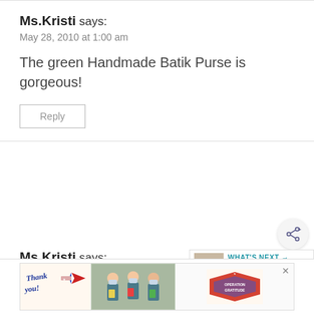Ms.Kristi says:
May 28, 2010 at 1:00 am
The green Handmade Batik Purse is gorgeous!
Reply
Ms.Kristi says:
May 28, 2010 at 1:00 am
[Figure (screenshot): Share icon button (circular)]
[Figure (infographic): WHAT'S NEXT panel with thumbnail image and text: FREE SVG Cut Files for Cri...]
[Figure (screenshot): Advertisement banner: Thank you Operation Gratitude with photo of nurses holding cards]